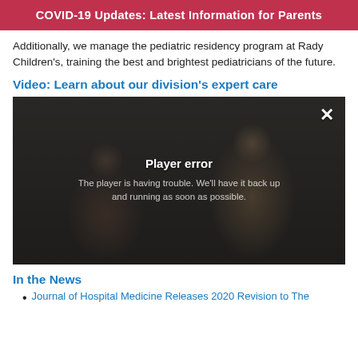COVID-19 Updates: Latest Information for Parents
Additionally, we manage the pediatric residency program at Rady Children's, training the best and brightest pediatricians of the future.
Video: Learn about our division's expert care
[Figure (screenshot): Video player showing a doctor examining a child patient in a hospital setting, with a 'Player error' overlay message reading 'The player is having trouble. We'll have it back up and running as soon as possible.' A close (X) button is visible in the top right.]
In the News
Journal of Hospital Medicine Releases 2020 Revision to The